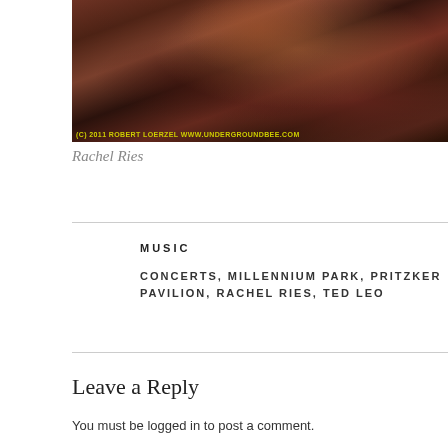[Figure (photo): Close-up photo of a musician playing guitar, wearing red/maroon clothing with an orange wristband. Watermark reads: (C) 2011 ROBERT LOERZEL WWW.UNDERGROUNDBEE.COM]
Rachel Ries
MUSIC
CONCERTS, MILLENNIUM PARK, PRITZKER PAVILION, RACHEL RIES, TED LEO
Leave a Reply
You must be logged in to post a comment.